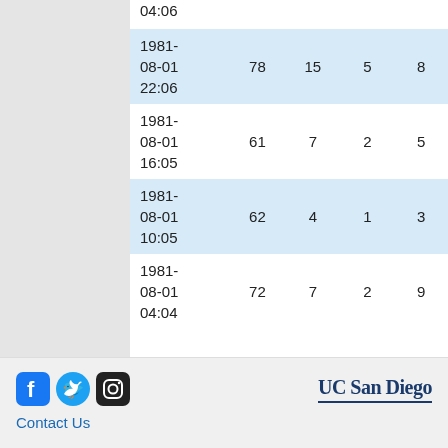| 04:06 |  |  |  |  |
| 1981-08-01 22:06 | 78 | 15 | 5 | 8 |
| 1981-08-01 16:05 | 61 | 7 | 2 | 5 |
| 1981-08-01 10:05 | 62 | 4 | 1 | 3 |
| 1981-08-01 04:04 | 72 | 7 | 2 | 9 |
Contact Us | UC San Diego